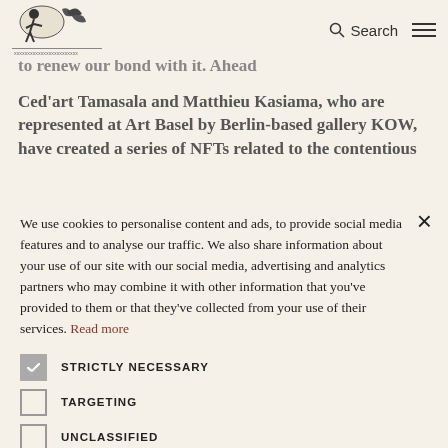[Figure (logo): Newspaper/publication logo with illustrated figure and text]
to renew our bond with it. Ahead
Ced'art Tamasala and Matthieu Kasiama, who are represented at Art Basel by Berlin-based gallery KOW, have created a series of NFTs related to the contentious
We use cookies to personalise content and ads, to provide social media features and to analyse our traffic. We also share information about your use of our site with our social media, advertising and analytics partners who may combine it with other information that you've provided to them or that they've collected from your use of their services. Read more
STRICTLY NECESSARY
TARGETING
UNCLASSIFIED
ACCEPT ALL
DECLINE ALL
SHOW DETAILS